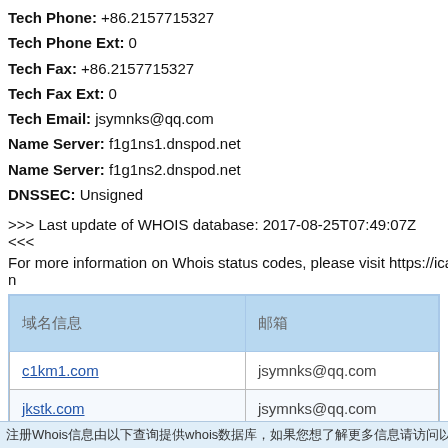Tech Phone: +86.2157715327
Tech Phone Ext: 0
Tech Fax: +86.2157715327
Tech Fax Ext: 0
Tech Email: jsymnks@qq.com
Name Server: f1g1ns1.dnspod.net
Name Server: f1g1ns2.dnspod.net
DNSSEC: Unsigned
>>> Last update of WHOIS database: 2017-08-25T07:49:07Z <<<
For more information on Whois status codes, please visit https://icann
| 域名信息 | 邮箱 |
| --- | --- |
| c1km1.com | jsymnks@qq.com |
| jkstk.com | jsymnks@qq.com |
| ybjk2014.com | jsymnks@qq.com |
注册Whois信息由以下查询提供whois数据库，如果您想了解更多信息请访问以下链接，查询更多whois